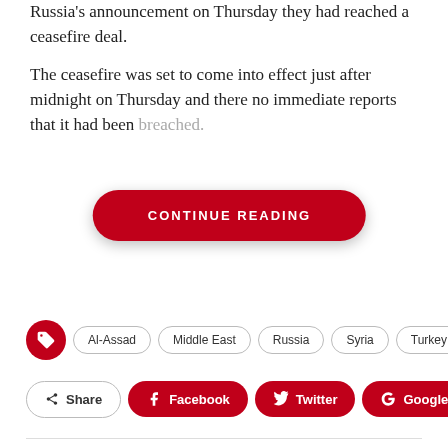Russia's announcement on Thursday they had reached a ceasefire deal.
The ceasefire was set to come into effect just after midnight on Thursday and there no immediate reports that it had been breached.
CONTINUE READING
Al-Assad
Middle East
Russia
Syria
Turkey
Share
Facebook
Twitter
Google+
← PREV POST
Saudi women: From spectators to footballers
NEXT POST →
European Parliament called to action for migrant women and children